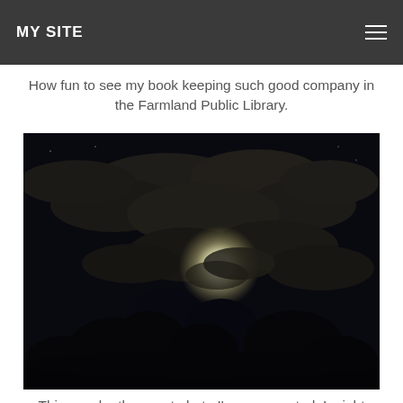MY SITE
How fun to see my book keeping such good company in the Farmland Public Library.
[Figure (photo): A dark nighttime photo showing a bright full moon partially obscured by clouds, with a dark tree silhouette visible at the bottom.]
This may be the worst photo I've ever posted. I might even